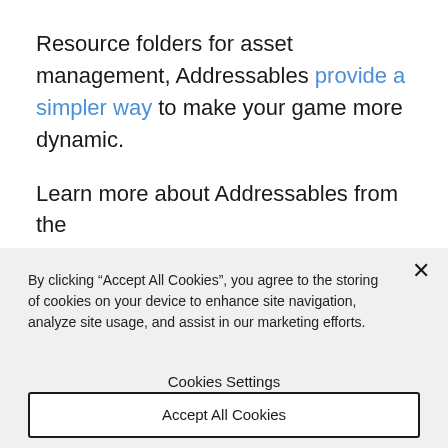Resource folders for asset management, Addressables provide a simpler way to make your game more dynamic.
Learn more about Addressables from the manual.
Prepare for limitations: Only Ahead-of-Time
By clicking “Accept All Cookies”, you agree to the storing of cookies on your device to enhance site navigation, analyze site usage, and assist in our marketing efforts.
Cookies Settings
Accept All Cookies